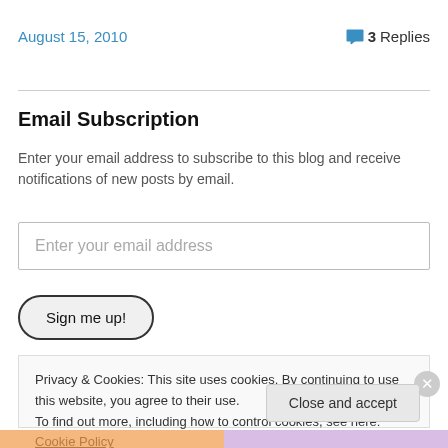August 15, 2010
3 Replies
Email Subscription
Enter your email address to subscribe to this blog and receive notifications of new posts by email.
Enter your email address
Sign me up!
Privacy & Cookies: This site uses cookies. By continuing to use this website, you agree to their use.
To find out more, including how to control cookies, see here: Cookie Policy
Close and accept